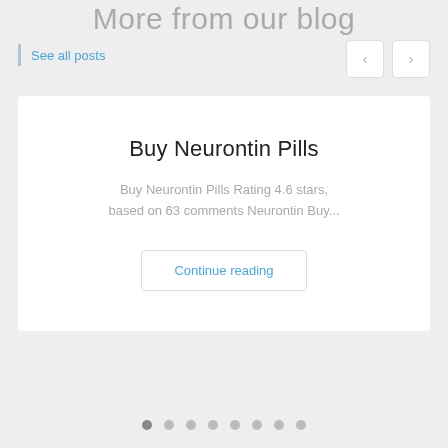More from our blog
See all posts
Buy Neurontin Pills
Buy Neurontin Pills Rating 4.6 stars, based on 63 comments Neurontin Buy...
Continue reading